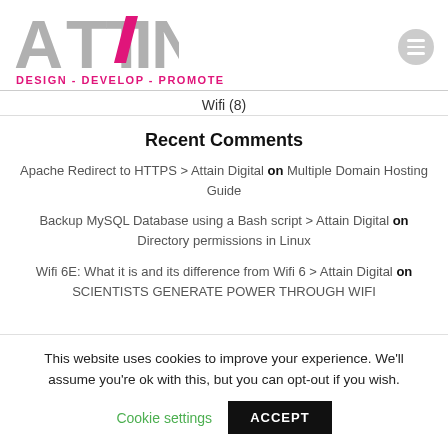ATTAIN - DESIGN - DEVELOP - PROMOTE
Wifi (8)
Recent Comments
Apache Redirect to HTTPS > Attain Digital on Multiple Domain Hosting Guide
Backup MySQL Database using a Bash script > Attain Digital on Directory permissions in Linux
Wifi 6E: What it is and its difference from Wifi 6 > Attain Digital on SCIENTISTS GENERATE POWER THROUGH WIFI
This website uses cookies to improve your experience. We'll assume you're ok with this, but you can opt-out if you wish. Cookie settings ACCEPT